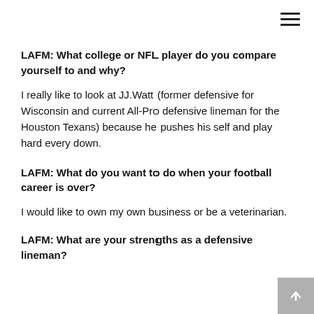LAFM: What college or NFL player do you compare yourself to and why?
I really like to look at JJ.Watt (former defensive for Wisconsin and current All-Pro defensive lineman for the Houston Texans) because he pushes his self and play hard every down.
LAFM: What do you want to do when your football career is over?
I would like to own my own business or be a veterinarian.
LAFM: What are your strengths as a defensive lineman?